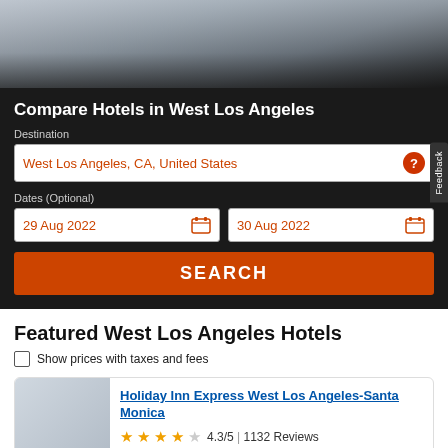[Figure (photo): Hero image of tourists/people, partially visible at top]
Compare Hotels in West Los Angeles
Destination
West Los Angeles, CA, United States
Dates (Optional)
29 Aug 2022
30 Aug 2022
SEARCH
Featured West Los Angeles Hotels
Show prices with taxes and fees
Holiday Inn Express West Los Angeles-Santa Monica
4.3/5 | 1132 Reviews